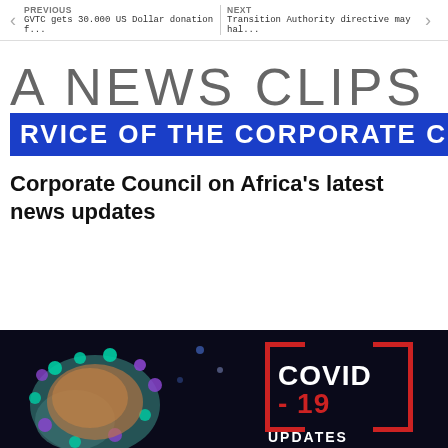PREVIOUS | GVTC gets 30.000 US Dollar donation f... | NEXT | Transition Authority directive may hal...
[Figure (logo): Africa News Clips logo: large light grey text 'A NEWS CLIPS' above a blue banner reading 'RVICE OF THE CORPORATE COUNC']
Corporate Council on Africa's latest news updates
[Figure (photo): COVID-19 Updates image: dark background with coronavirus particle illustration on the left and 'COVID - 19 UPDATES' text in white and red on the right]